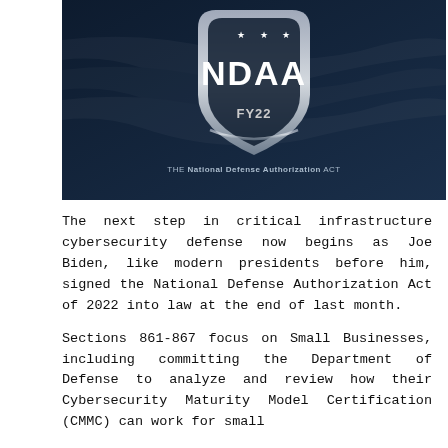[Figure (illustration): NDAA FY22 shield logo on dark navy background with American flag imagery. Shield contains three stars at top, large text 'NDAA', and 'FY22' below. Subtitle reads 'THE National Defense Authorization ACT'.]
The next step in critical infrastructure cybersecurity defense now begins as Joe Biden, like modern presidents before him, signed the National Defense Authorization Act of 2022 into law at the end of last month.
Sections 861-867 focus on Small Businesses, including committing the Department of Defense to analyze and review how their Cybersecurity Maturity Model Certification (CMMC) can work for small